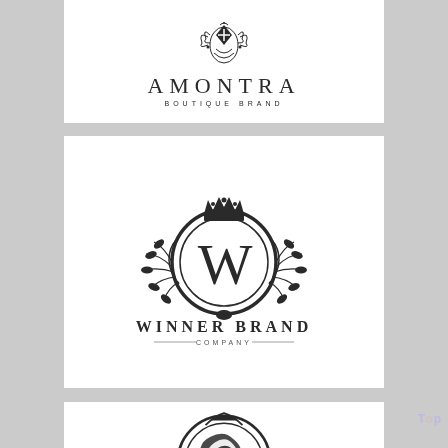[Figure (logo): AMONTRA BOUTIQUE BRAND logo — decorative geometric crest/mandala icon above the text 'AMONTRA' in large spaced serif capitals, with 'BOUTIQUE BRAND' in small spaced caps below]
[Figure (logo): WINNER BRAND COMPANY logo — circular emblem with crown at top, large 'W' letter in the center circle, flanked by wheat/laurel branches, with 'WINNER BRAND' in large bold serif capitals and 'COMPANY' in small caps with decorative lines below]
[Figure (logo): Partial view of a third logo — circular emblem with ornamental design, partially cut off at bottom of page]